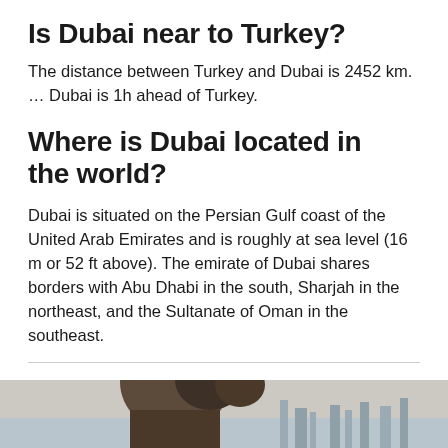Is Dubai near to Turkey?
The distance between Turkey and Dubai is 2452 km. … Dubai is 1h ahead of Turkey.
Where is Dubai located in the world?
Dubai is situated on the Persian Gulf coast of the United Arab Emirates and is roughly at sea level (16 m or 52 ft above). The emirate of Dubai shares borders with Abu Dhabi in the south, Sharjah in the northeast, and the Sultanate of Oman in the southeast.
[Figure (photo): Partial photo of a person and architectural/landscape elements, cropped at the bottom of the page]